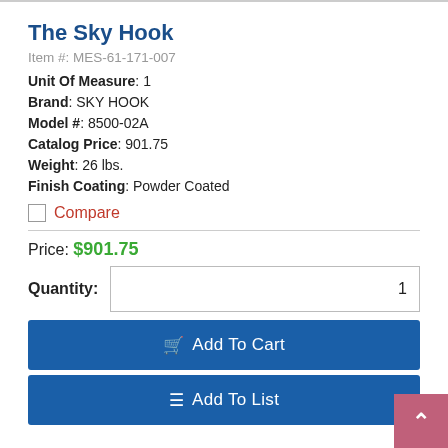The Sky Hook
Item #: MES-61-171-007
Unit Of Measure: 1
Brand: SKY HOOK
Model #: 8500-02A
Catalog Price: 901.75
Weight: 26 lbs.
Finish Coating: Powder Coated
Compare
Price: $901.75
Quantity: 1
Add To Cart
Add To List